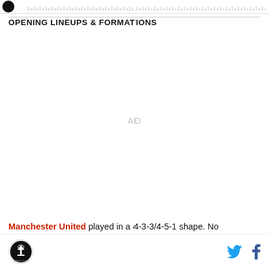[Figure (logo): Dark circular logo in top left corner with partial visibility]
OPENING LINEUPS & FORMATIONS
[Figure (other): AD placeholder area in center of page]
Manchester United played in a 4-3-3/4-5-1 shape. No
Footer with circular logo on left and Twitter and Facebook icons on right